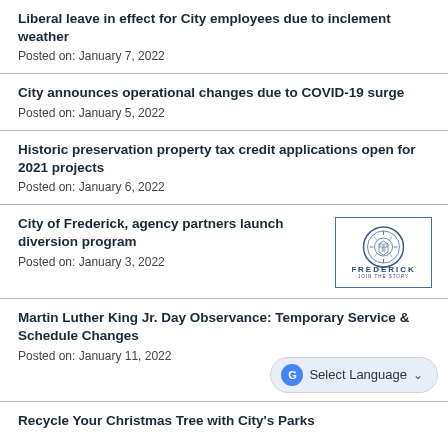Liberal leave in effect for City employees due to inclement weather
Posted on: January 7, 2022
City announces operational changes due to COVID-19 surge
Posted on: January 5, 2022
Historic preservation property tax credit applications open for 2021 projects
Posted on: January 6, 2022
City of Frederick, agency partners launch diversion program
Posted on: January 3, 2022
[Figure (logo): City of Frederick logo with circular seal and text FREDERICK JOIN THE STORY]
Martin Luther King Jr. Day Observance: Temporary Service & Schedule Changes
Posted on: January 11, 2022
Recycle Your Christmas Tree with City's Parks